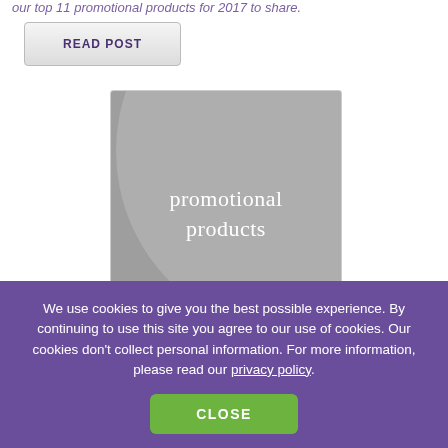our top 11 promotional products for 2017 to share.
READ POST
[Figure (illustration): A gray promotional products catalog cover with 'promotional products' text and '2017' printed on it, with a lighter gray circle design in the background.]
We use cookies to give you the best possible experience. By continuing to use this site you agree to our use of cookies. Our cookies don't collect personal information. For more information, please read our privacy policy.
CLOSE